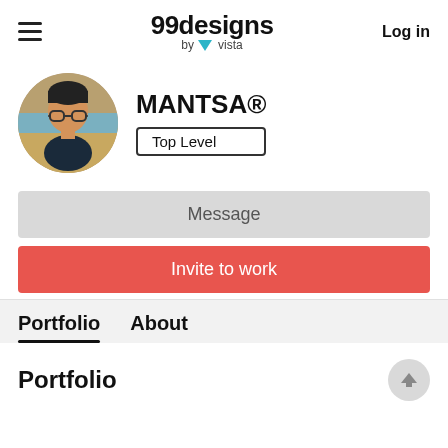99designs by vista  Log in
[Figure (photo): Circular profile photo of a man wearing glasses and a dark shirt]
MANTSA®
Top Level
Message
Invite to work
Portfolio  About
Portfolio